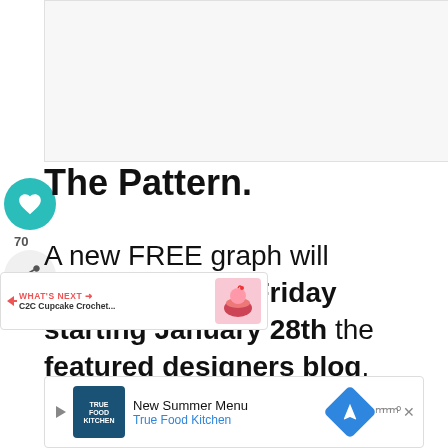[Figure (photo): Blank/light gray image placeholder area at top of page]
The Pattern.
A new FREE graph will premieres every Friday starting January 28th the featured designers blog. Check back HERE when the CAL scroll down to find the links to your patterns.
[Figure (infographic): What's Next promo bar: C2C Cupcake Crochet... with cupcake image]
[Figure (infographic): Advertisement bar: True Food Kitchen - New Summer Menu]